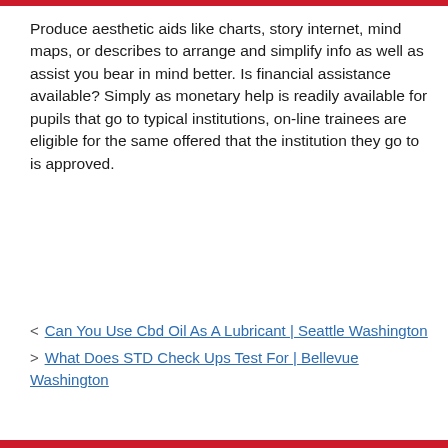Produce aesthetic aids like charts, story internet, mind maps, or describes to arrange and simplify info as well as assist you bear in mind better. Is financial assistance available? Simply as monetary help is readily available for pupils that go to typical institutions, on-line trainees are eligible for the same offered that the institution they go to is approved.
< Can You Use Cbd Oil As A Lubricant | Seattle Washington
> What Does STD Check Ups Test For | Bellevue Washington